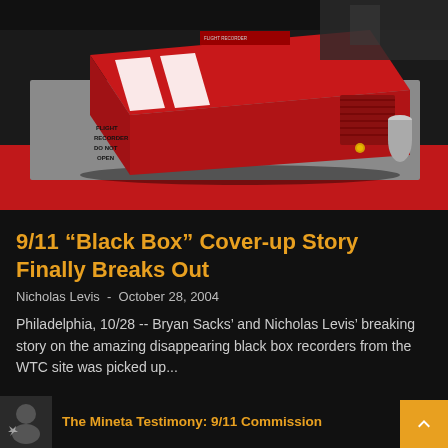[Figure (photo): A red flight recorder (black box) device with white stripes and text reading FLIGHT RECORDER DO NOT OPEN, photographed on a gray surface with red background]
9/11 “Black Box” Cover-up Story Finally Breaks Out
Nicholas Levis - October 28, 2004
Philadelphia, 10/28 -- Bryan Sacks’ and Nicholas Levis’ breaking story on the amazing disappearing black box recorders from the WTC site was picked up...
The Mineta Testimony: 9/11 Commission